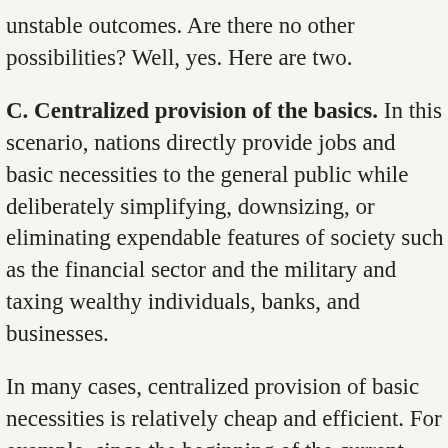unstable outcomes. Are there no other possibilities? Well, yes. Here are two.
C. Centralized provision of the basics. In this scenario, nations directly provide jobs and basic necessities to the general public while deliberately simplifying, downsizing, or eliminating expendable features of society such as the financial sector and the military and taxing wealthy individuals, banks, and businesses.
In many cases, centralized provision of basic necessities is relatively cheap and efficient. For example, since the beginning of the current financial crisis the US government has expanded